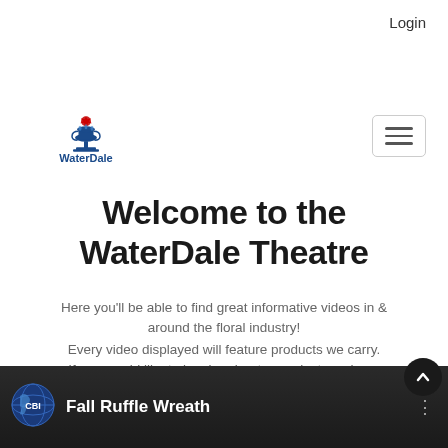Login
[Figure (logo): WaterDale logo with fountain/trophy and red maple leaf icon above the text WaterDale in blue]
Welcome to the WaterDale Theatre
Here you'll be able to find great informative videos in & around the floral industry!
Every video displayed will feature products we carry. If you would like to inquire about a product you have seen, please contact us.
[Figure (screenshot): Video thumbnail bar at bottom showing CBI globe logo and title 'Fall Ruffle Wreath' on dark background with three-dot menu]